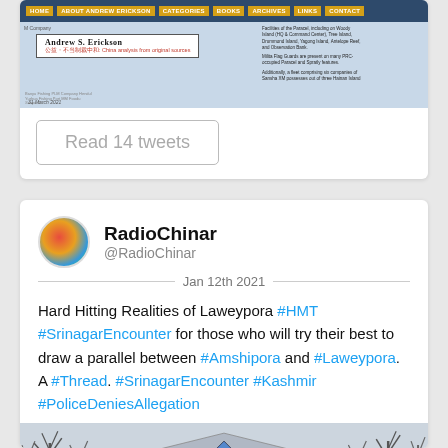[Figure (screenshot): Screenshot of Andrew S. Erickson website with navigation bar and map content about PRC Paracel/Spratly features, dated 31 March 2021]
Read 14 tweets
RadioChinar
@RadioChinar
Jan 12th 2021
Hard Hitting Realities of Laweypora #HMT #SrinagarEncounter for those who will try their best to draw a parallel between #Amshipora and #Laweypora. A #Thread. #SrinagarEncounter #Kashmir #PoliceDeniesAllegation
[Figure (photo): Photo of a building/house with a triangular roof, diamond-shaped window, and bare trees surrounding it in winter]